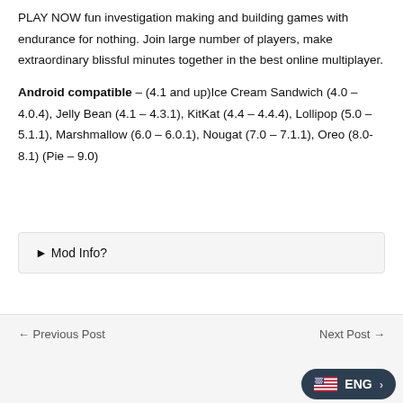PLAY NOW fun investigation making and building games with endurance for nothing. Join large number of players, make extraordinary blissful minutes together in the best online multiplayer.
Android compatible – (4.1 and up)Ice Cream Sandwich (4.0 – 4.0.4), Jelly Bean (4.1 – 4.3.1), KitKat (4.4 – 4.4.4), Lollipop (5.0 – 5.1.1), Marshmallow (6.0 – 6.0.1), Nougat (7.0 – 7.1.1), Oreo (8.0-8.1) (Pie – 9.0)
► Mod Info?
← Previous Post   Next Post →   ENG